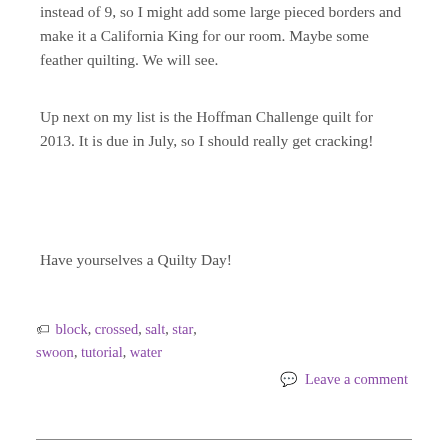instead of 9, so I might add some large pieced borders and make it a California King for our room. Maybe some feather quilting. We will see.
Up next on my list is the Hoffman Challenge quilt for 2013. It is due in July, so I should really get cracking!
Have yourselves a Quilty Day!
block, crossed, salt, star, swoon, tutorial, water
Leave a comment